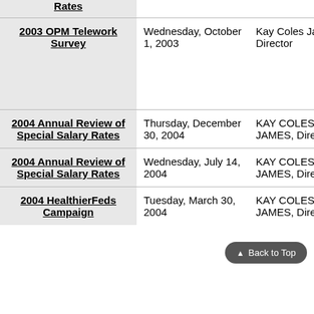| Document | Date | Author |
| --- | --- | --- |
| Rates |  |  |
| 2003 OPM Telework Survey | Wednesday, October 1, 2003 | Kay Coles James, Director |
| 2004 Annual Review of Special Salary Rates | Thursday, December 30, 2004 | KAY COLES JAMES, Director |
| 2004 Annual Review of Special Salary Rates | Wednesday, July 14, 2004 | KAY COLES JAMES, Director |
| 2004 HealthierFeds Campaign | Tuesday, March 30, 2004 | KAY COLES JAMES, Director |